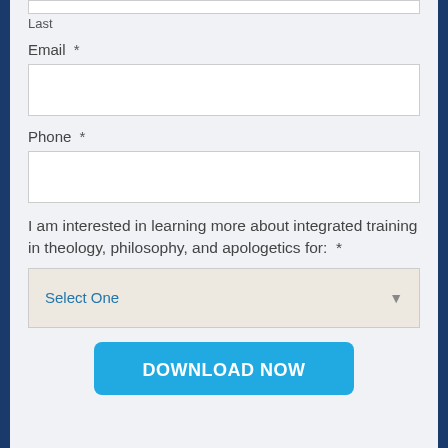Last
Email *
Phone *
I am interested in learning more about integrated training in theology, philosophy, and apologetics for:  *
Select One
DOWNLOAD NOW